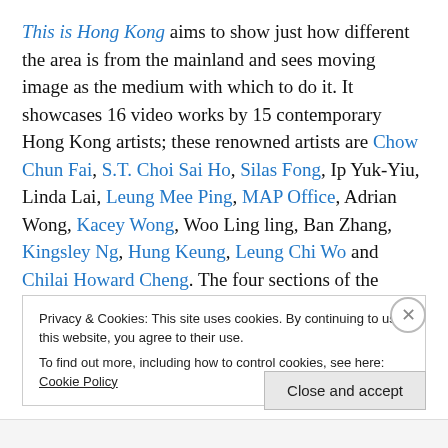This is Hong Kong aims to show just how different the area is from the mainland and sees moving image as the medium with which to do it. It showcases 16 video works by 15 contemporary Hong Kong artists; these renowned artists are Chow Chun Fai, S.T. Choi Sai Ho, Silas Fong, Ip Yuk-Yiu, Linda Lai, Leung Mee Ping, MAP Office, Adrian Wong, Kacey Wong, Woo Ling ling, Ban Zhang, Kingsley Ng, Hung Keung, Leung Chi Wo and Chilai Howard Cheng. The four sections of the exhibition, (Transitional) Architecture, Diaries, Fictions and Tactile Positions, each
Privacy & Cookies: This site uses cookies. By continuing to use this website, you agree to their use.
To find out more, including how to control cookies, see here: Cookie Policy
Close and accept